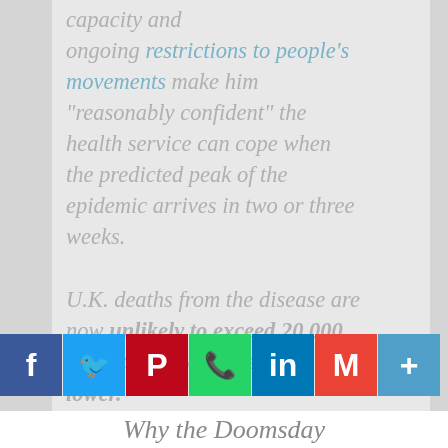capacity and ongoing restrictions to people's movements make him "reasonably confident" the health service can cope when the predicted peak of the epidemic arrives in two or three weeks.
U.K. deaths from the disease are now unlikely to exceed 20,000, he said and could be much lower.
New Scientist – March 25, 2020
[Figure (other): Social media share buttons: Facebook, Twitter, Pinterest, WhatsApp, LinkedIn, Gmail, More]
Why the Doomsday